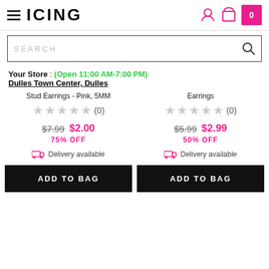ICING
Your Store : (Open 11:00 AM-7:00 PM) Dulles Town Center, Dulles
Stud Earrings - Pink, 5MM
★★★★★ (0)
$7.99  $2.00
75% OFF
Delivery available
ADD TO BAG
Earrings
★★★★★ (0)
$5.99  $2.99
50% OFF
Delivery available
ADD TO BAG